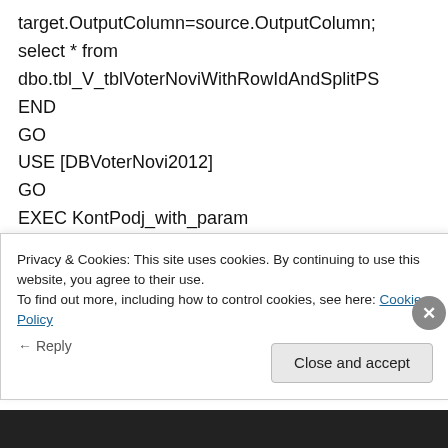target.OutputColumn=source.OutputColumn;
select * from
dbo.tbl_V_tblVoterNoviWithRowIdAndSplitPS
END
GO
USE [DBVoterNovi2012]
GO
EXEC KontPodj_with_param
'036A001,029B100'
GO
Privacy & Cookies: This site uses cookies. By continuing to use this website, you agree to their use.
To find out more, including how to control cookies, see here: Cookie Policy